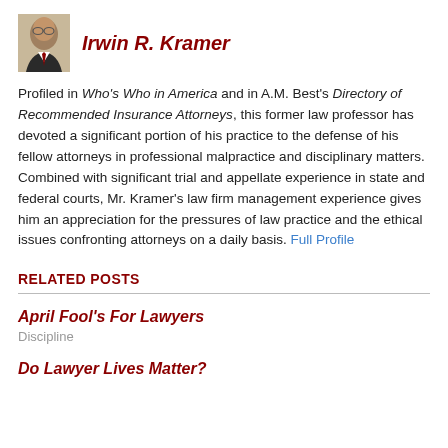[Figure (photo): Headshot photo of Irwin R. Kramer, a man in a suit with glasses]
Irwin R. Kramer
Profiled in Who's Who in America and in A.M. Best's Directory of Recommended Insurance Attorneys, this former law professor has devoted a significant portion of his practice to the defense of his fellow attorneys in professional malpractice and disciplinary matters. Combined with significant trial and appellate experience in state and federal courts, Mr. Kramer's law firm management experience gives him an appreciation for the pressures of law practice and the ethical issues confronting attorneys on a daily basis. Full Profile
RELATED POSTS
April Fool's For Lawyers
Discipline
Do Lawyer Lives Matter?